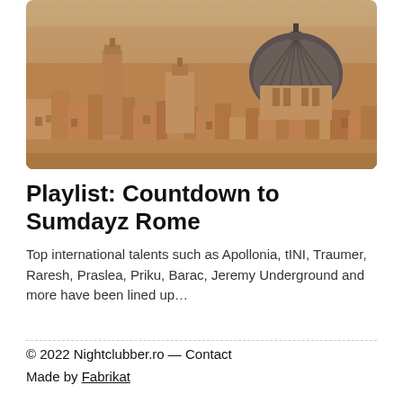[Figure (photo): Aerial/panoramic view of Rome cityscape with historic churches, domes and terracotta rooftops]
Playlist: Countdown to Sumdayz Rome
Top international talents such as Apollonia, tINI, Traumer, Raresh, Praslea, Priku, Barac, Jeremy Underground and more have been lined up…
© 2022 Nightclubber.ro — Contact
Made by Fabrikat